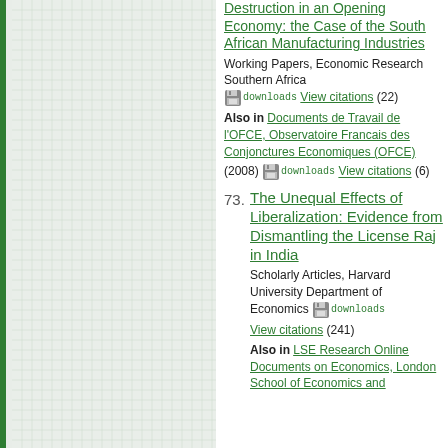[Figure (other): Left panel with grid/graph paper background and green border]
Destruction in an Opening Economy: the Case of the South African Manufacturing Industries. Working Papers, Economic Research Southern Africa. downloads View citations (22). Also in Documents de Travail de l'OFCE, Observatoire Francais des Conjonctures Economiques (OFCE) (2008) downloads View citations (6)
73. The Unequal Effects of Liberalization: Evidence from Dismantling the License Raj in India. Scholarly Articles, Harvard University Department of Economics. downloads View citations (241). Also in LSE Research Online Documents on Economics, London School of Economics and